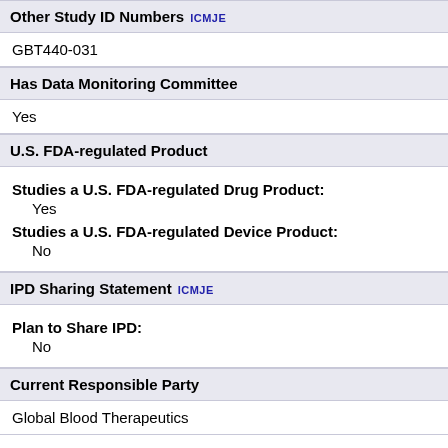Other Study ID Numbers ICMJE
GBT440-031
Has Data Monitoring Committee
Yes
U.S. FDA-regulated Product
Studies a U.S. FDA-regulated Drug Product: Yes
Studies a U.S. FDA-regulated Device Product: No
IPD Sharing Statement ICMJE
Plan to Share IPD: No
Current Responsible Party
Global Blood Therapeutics